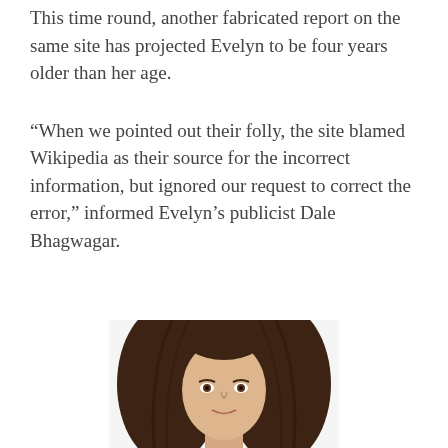This time round, another fabricated report on the same site has projected Evelyn to be four years older than her age.
“When we pointed out their folly, the site blamed Wikipedia as their source for the incorrect information, but ignored our request to correct the error,” informed Evelyn’s publicist Dale Bhagwagar.
[Figure (photo): Photo of a young woman with long dark brown hair, visible from approximately the shoulders up, with a white background. The top of her head and face with brown eyes are visible.]